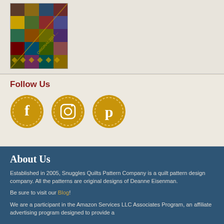[Figure (photo): A quilt product image showing a colorful patchwork quilt pattern with diagonal text overlay]
Follow Us
[Figure (logo): Three social media icon circles in golden/amber color: Facebook (F), Instagram (camera), Pinterest (P)]
About Us
Established in 2005, Snuggles Quilts Pattern Company is a quilt pattern design company. All the patterns are original designs of Deanne Eisenman.
Be sure to visit our Blog!
We are a participant in the Amazon Services LLC Associates Program, an affiliate advertising program designed to provide a